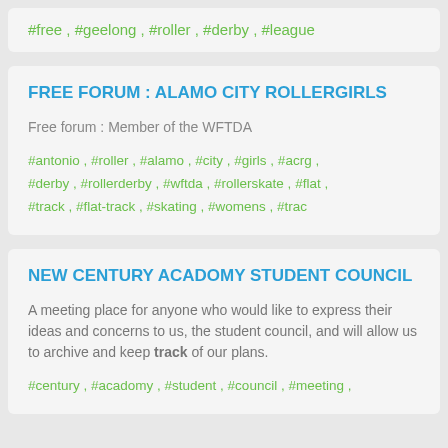#free , #geelong , #roller , #derby , #league
FREE FORUM : ALAMO CITY ROLLERGIRLS
Free forum : Member of the WFTDA
#antonio , #roller , #alamo , #city , #girls , #acrg , #derby , #rollerderby , #wftda , #rollerskate , #flat , #track , #flat-track , #skating , #womens , #trac
NEW CENTURY ACADOMY STUDENT COUNCIL
A meeting place for anyone who would like to express their ideas and concerns to us, the student council, and will allow us to archive and keep track of our plans.
#century , #acadomy , #student , #council , #meeting ,